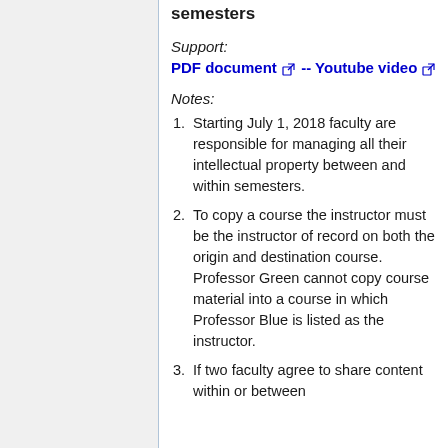semesters
Support:
PDF document -- Youtube video
Notes:
Starting July 1, 2018 faculty are responsible for managing all their intellectual property between and within semesters.
To copy a course the instructor must be the instructor of record on both the origin and destination course. Professor Green cannot copy course material into a course in which Professor Blue is listed as the instructor.
If two faculty agree to share content within or between